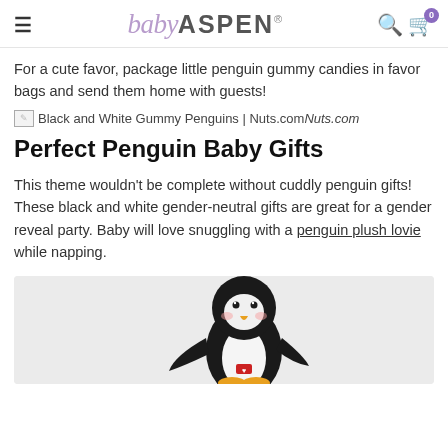baby ASPEN®
For a cute favor, package little penguin gummy candies in favor bags and send them home with guests!
[Figure (photo): Black and White Gummy Penguins | Nuts.com — image with broken/missing image icon followed by text label 'Black and White Gummy Penguins | Nuts.com' and italic 'Nuts.com']
Perfect Penguin Baby Gifts
This theme wouldn't be complete without cuddly penguin gifts! These black and white gender-neutral gifts are great for a gender reveal party. Baby will love snuggling with a penguin plush lovie while napping.
[Figure (photo): Black and white penguin plush stuffed animal toy on a light gray background, partially visible]